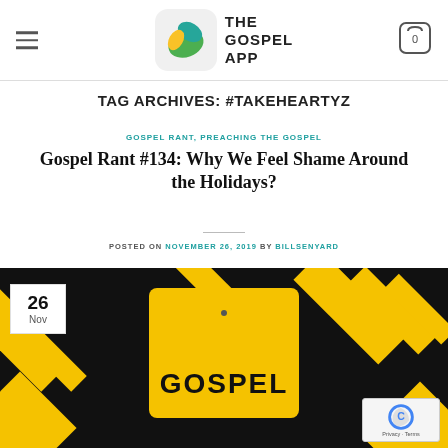THE GOSPEL APP
TAG ARCHIVES: #TAKEHEARTYZ
GOSPEL RANT, PREACHING THE GOSPEL
Gospel Rant #134: Why We Feel Shame Around the Holidays?
POSTED ON NOVEMBER 26, 2019 BY BILLSENYARD
[Figure (photo): Dark background with yellow caution/warning sign showing the word GOSPEL, with yellow diagonal stripes. A date badge shows 26 Nov in top-left corner. A reCAPTCHA badge is in the bottom-right corner with Privacy - Terms text.]